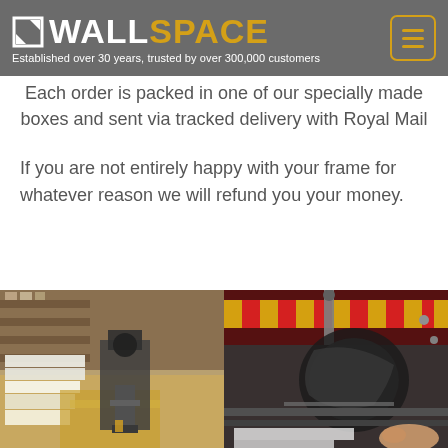WALL SPACE — Established over 30 years, trusted by over 300,000 customers
Each order is packed in one of our specially made boxes and sent via tracked delivery with Royal Mail
If you are not entirely happy with your frame for whatever reason we will refund you your money.
[Figure (photo): Two side-by-side workshop photos: left shows picture frame components and a press/clamp machine on a workbench; right shows a miter saw or cutting machine with red/yellow safety markings and a worker's hand operating it.]